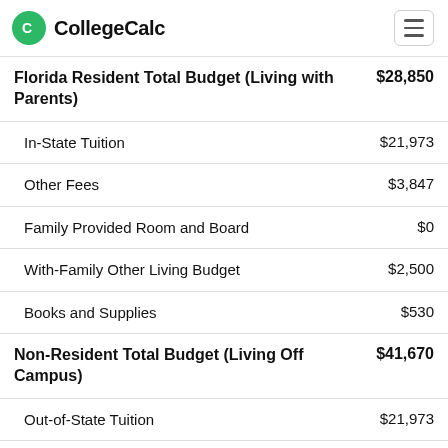CollegeCalc
| Category | Amount |
| --- | --- |
| Florida Resident Total Budget (Living with Parents) | $28,850 |
| In-State Tuition | $21,973 |
| Other Fees | $3,847 |
| Family Provided Room and Board | $0 |
| With-Family Other Living Budget | $2,500 |
| Books and Supplies | $530 |
| Non-Resident Total Budget (Living Off Campus) | $41,670 |
| Out-of-State Tuition | $21,973 |
| Other Fees | $3,847 |